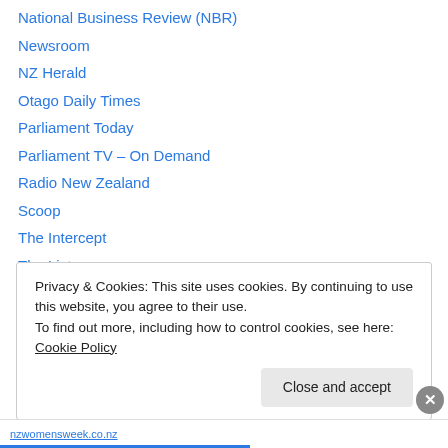National Business Review (NBR)
Newsroom
NZ Herald
Otago Daily Times
Parliament Today
Parliament TV – On Demand
Radio New Zealand
Scoop
The Intercept
The Listener
The Spinoff
TV3
TVNZ
Privacy & Cookies: This site uses cookies. By continuing to use this website, you agree to their use. To find out more, including how to control cookies, see here: Cookie Policy